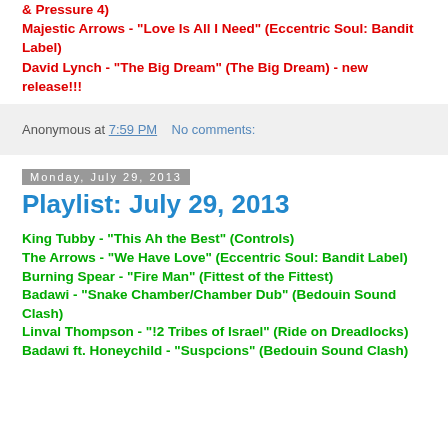& Pressure 4)
Majestic Arrows - "Love Is All I Need" (Eccentric Soul: Bandit Label)
David Lynch - "The Big Dream" (The Big Dream) - new release!!!
Anonymous at 7:59 PM   No comments:
Monday, July 29, 2013
Playlist: July 29, 2013
King Tubby - "This Ah the Best" (Controls)
The Arrows - "We Have Love" (Eccentric Soul: Bandit Label)
Burning Spear - "Fire Man" (Fittest of the Fittest)
Badawi - "Snake Chamber/Chamber Dub" (Bedouin Sound Clash)
Linval Thompson - "!2 Tribes of Israel" (Ride on Dreadlocks)
Badawi ft. Honeychild - "Suspcions" (Bedouin Sound Clash)